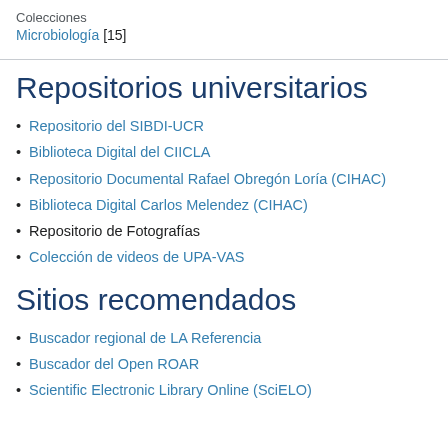Colecciones
Microbiología [15]
Repositorios universitarios
Repositorio del SIBDI-UCR
Biblioteca Digital del CIICLA
Repositorio Documental Rafael Obregón Loría (CIHAC)
Biblioteca Digital Carlos Melendez (CIHAC)
Repositorio de Fotografías
Colección de videos de UPA-VAS
Sitios recomendados
Buscador regional de LA Referencia
Buscador del Open ROAR
Scientific Electronic Library Online (SciELO)